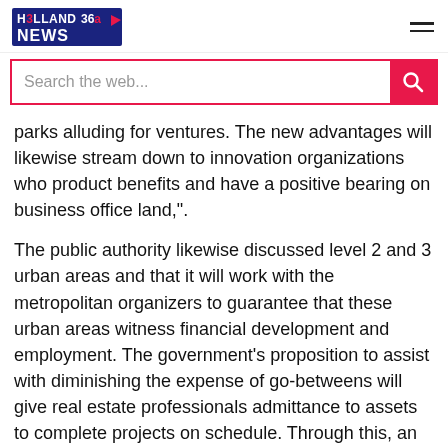Holland 360 News
Search the web...
parks alluding for ventures. The new advantages will likewise stream down to innovation organizations who product benefits and have a positive bearing on business office land,".
The public authority likewise discussed level 2 and 3 urban areas and that it will work with the metropolitan organizers to guarantee that these urban areas witness financial development and employment. The government's proposition to assist with diminishing the expense of go-betweens will give real estate professionals admittance to assets to complete projects on schedule. Through this, an average person can likewise satisfy the fantasy about claiming a home".
Executive of Pioneer Araya Sector 62 Gurgaon said, the